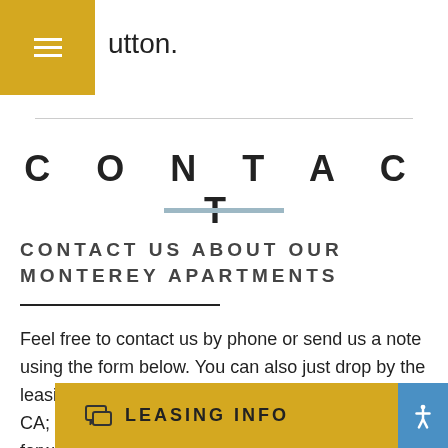[Figure (other): Golden square hamburger menu button in top-left corner with three white horizontal lines]
utton.
CONTACT
CONTACT US ABOUT OUR MONTEREY APARTMENTS
Feel free to contact us by phone or send us a note using the form below. You can also just drop by the leasing office for apartments for rent in Monterey, CA; we'd be delighted to give you a tour. We look forward to he...
LEASING INFO